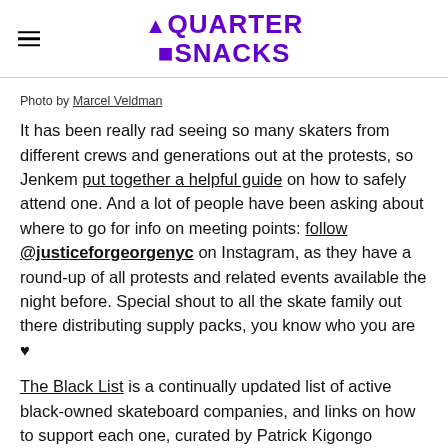QUARTER SNACKS
Photo by Marcel Veldman
It has been really rad seeing so many skaters from different crews and generations out at the protests, so Jenkem put together a helpful guide on how to safely attend one. And a lot of people have been asking about where to go for info on meeting points: follow @justiceforgeorgenyc on Instagram, as they have a round-up of all protests and related events available the night before. Special shout to all the skate family out there distributing supply packs, you know who you are ♥
The Black List is a continually updated list of active black-owned skateboard companies, and links on how to support each one, curated by Patrick Kigongo